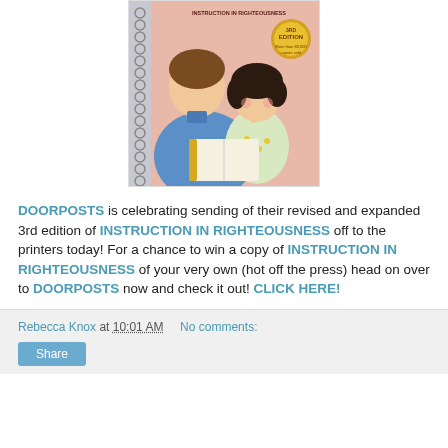[Figure (illustration): Book cover of 'Instruction in Righteousness' 3rd edition showing a watercolor illustration of a man in blue shirt and a girl looking at a book together, with a spiral binding on the left and a gold badge reading '3rd Edition']
DOORPOSTS is celebrating sending of their revised and expanded 3rd edition of INSTRUCTION IN RIGHTEOUSNESS off to the printers today! For a chance to win a copy of INSTRUCTION IN RIGHTEOUSNESS of your very own (hot off the press) head on over to DOORPOSTS now and check it out! CLICK HERE!
Rebecca Knox at 10:01 AM   No comments:   Share